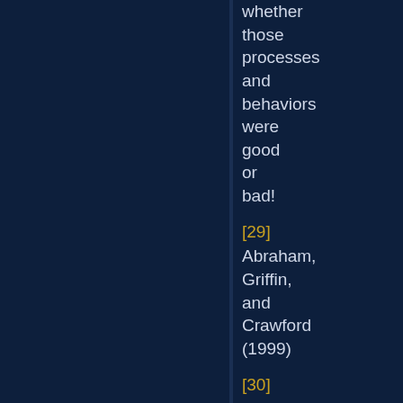whether those processes and behaviors were good or bad!
[29] Abraham, Griffin, and Crawford (1999)
[30] The rationale was the assertion